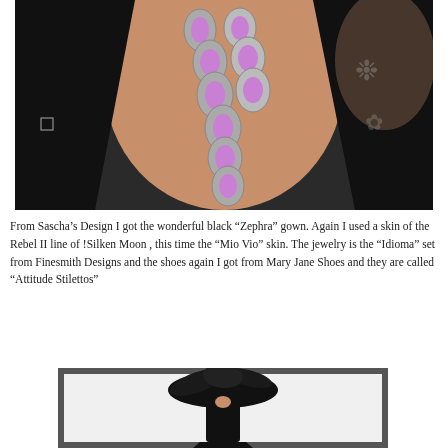[Figure (illustration): Close-up illustration of a figure wearing a black gown with a silver and purple gemstone necklace ('Idioma' set). The necklace features multiple teardrop-shaped purple stones set in silver oval frames arranged in a cascade.]
From Sascha’s Design I got the wonderful black “Zephra” gown. Again I used a skin of the Rebel II line of !Silken Moon , this time the “Mio Vio” skin. The jewelry is the “Idioma” set from Finesmith Designs and the shoes again I got from Mary Jane Shoes and they are called “Attitude Stilettos”
[Figure (illustration): Full-body illustration of a figure in an elaborate black gown with a large black feathered hat, shown from a distance on a white background with a dark frame border.]